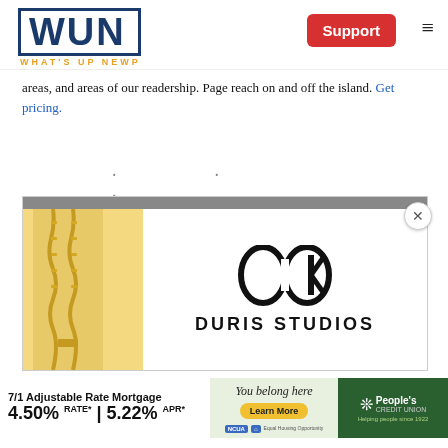WUN WHAT'S UP NEWP — Support
areas, and areas of our readership. Page reach on and off the island. Get pricing.
· · ·
[Figure (advertisement): Duris Studios jewelry advertisement with gold chain necklace on left and DURIS STUDIOS logo on right]
[Figure (advertisement): People's Credit Union ad: 7/1 Adjustable Rate Mortgage 4.50% RATE* | 5.22% APR* — You belong here — Learn More — People's Credit Union Helping people since 1922]